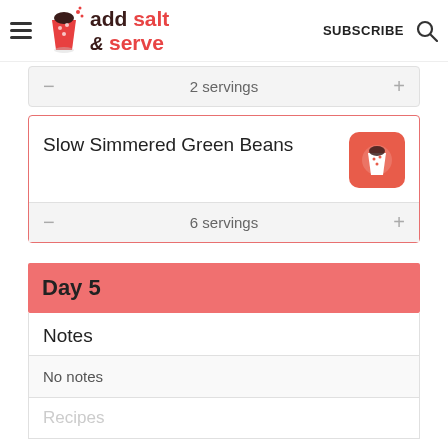add salt & serve — SUBSCRIBE
2 servings
Slow Simmered Green Beans
6 servings
Day 5
Notes
No notes
Recipes